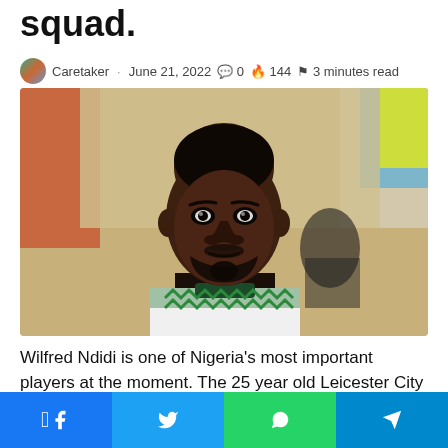squad.
Caretaker · June 21, 2022 💬 0 🔥 144 📖 3 minutes read
[Figure (photo): Portrait photo of Wilfred Ndidi wearing a white and green Nigeria national team jersey, looking upward with a blurred colorful crowd background]
Wilfred Ndidi is one of Nigeria's most important players at the moment. The 25 year old Leicester City Midfielder has
Share buttons: Facebook, Twitter, WhatsApp, Telegram